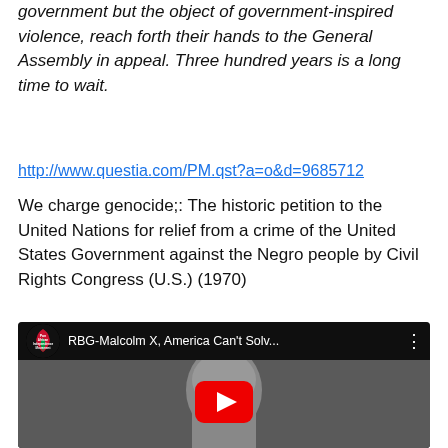government but the object of government-inspired violence, reach forth their hands to the General Assembly in appeal. Three hundred years is a long time to wait.
http://www.questia.com/PM.qst?a=o&d=9685712
We charge genocide;: The historic petition to the United Nations for relief from a crime of the United States Government against the Negro people by Civil Rights Congress (U.S.) (1970)
[Figure (screenshot): YouTube video embed thumbnail showing a black and white image of Malcolm X with the video title 'RBG-Malcolm X, America Can't Solv...' and an African Independence Movement channel icon. A red YouTube play button is overlaid in the center.]